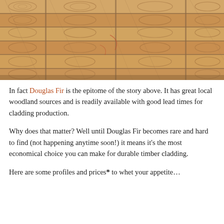[Figure (photo): Stacked wooden planks showing cross-sections of Douglas Fir timber, with visible grain patterns and growth rings, photographed from above at an angle.]
In fact Douglas Fir is the epitome of the story above. It has great local woodland sources and is readily available with good lead times for cladding production.
Why does that matter? Well until Douglas Fir becomes rare and hard to find (not happening anytime soon!) it means it's the most economical choice you can make for durable timber cladding.
Here are some profiles and prices* to whet your appetite…